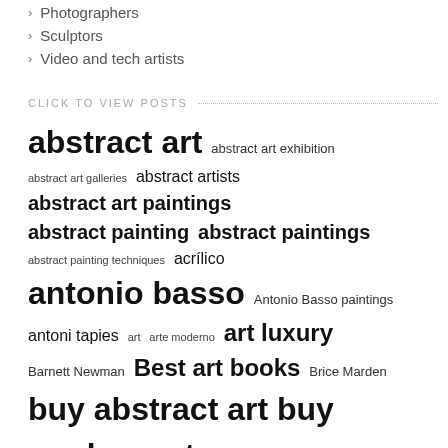Photographers
Sculptors
Video and tech artists
CLICK TO VIEW POSTS
abstract art  abstract art exhibition  abstract art galleries  abstract artists  abstract art paintings  abstract painting  abstract paintings  abstract painting techniques  acrílico  antonio basso  Antonio Basso paintings  antoni tapies  art  arte moderno  art luxury  Barnett Newman  Best art books  Brice Marden  buy abstract art  buy modern art  comprar pintura moderna  contemporary abstract art